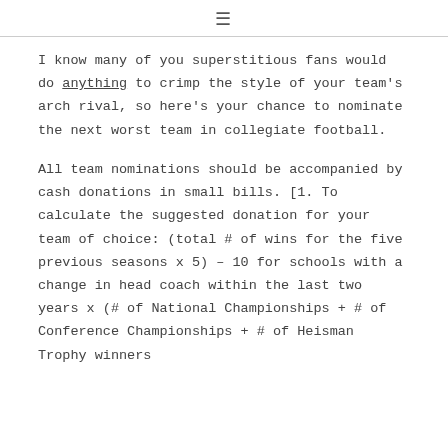≡
I know many of you superstitious fans would do anything to crimp the style of your team's arch rival, so here's your chance to nominate the next worst team in collegiate football.
All team nominations should be accompanied by cash donations in small bills. [1. To calculate the suggested donation for your team of choice: (total # of wins for the five previous seasons x 5) – 10 for schools with a change in head coach within the last two years x (# of National Championships + # of Conference Championships + # of Heisman Trophy winners